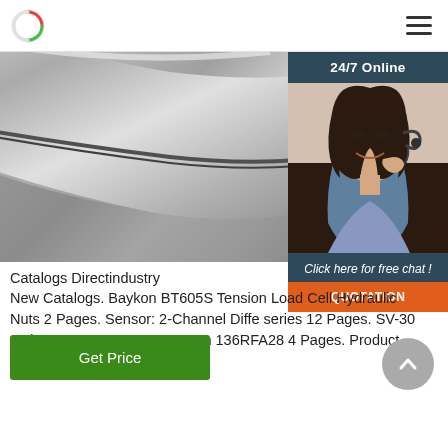Catalogs Directindustry
[Figure (photo): Close-up photograph of a metallic industrial nut or fitting, silver/grey in color]
[Figure (photo): 24/7 Online chat support banner with photo of a smiling female customer support agent wearing a headset, with 'Click here for free chat!' text and orange QUOTATION button]
Catalogs Directindustry
New Catalogs. Baykon BT605S Tension Load Cell Hydraulic Nuts 2 Pages. Sensor: 2-Channel Diffe series 12 Pages. SV-30 series 8 Pages. San Ace R Fan 136RFA28 4 Pages. Product folder 220 Pages.
Get Price